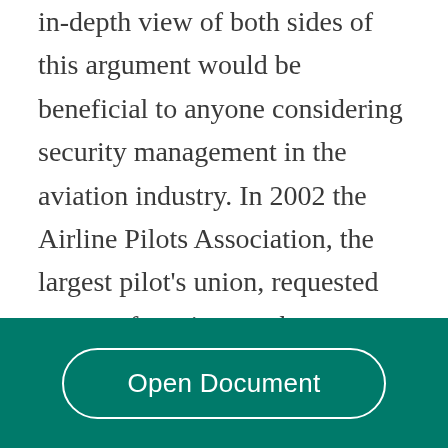in-depth view of both sides of this argument would be beneficial to anyone considering security management in the aviation industry. In 2002 the Airline Pilots Association, the largest pilot's union, requested support from its members to help pass a bill that would allow guns in the cockpit. Many of them felt that if pilots are trained in the use of firearms and felt comfortable with using a gun, there is no reason why they should not be permitted to carry one onboard. "More than 3,000 people were murdered, billions of dollars of property damage was incurred, the nation's economy was
Open Document